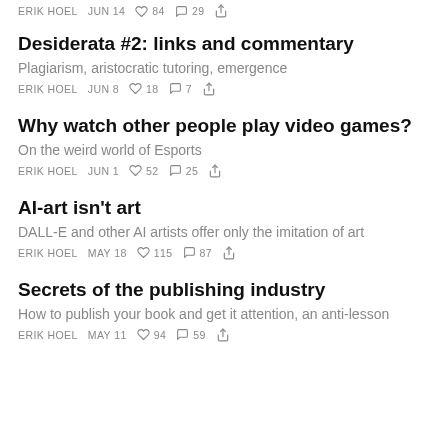ERIK HOEL  JUN 14  84  29
Desiderata #2: links and commentary
Plagiarism, aristocratic tutoring, emergence
ERIK HOEL  JUN 8  18  7
Why watch other people play video games?
On the weird world of Esports
ERIK HOEL  JUN 1  52  25
AI-art isn't art
DALL-E and other AI artists offer only the imitation of art
ERIK HOEL  MAY 18  115  87
Secrets of the publishing industry
How to publish your book and get it attention, an anti-lesson
ERIK HOEL  MAY 11  94  59